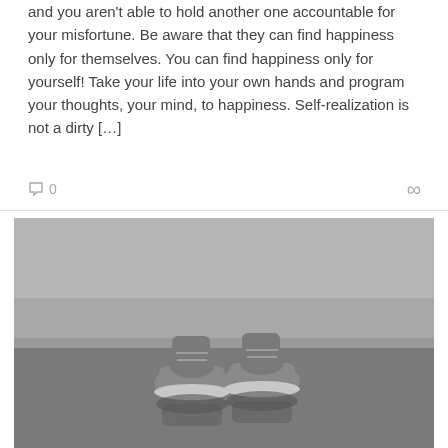and you aren't able to hold another one accountable for your misfortune. Be aware that they can find happiness only for themselves. You can find happiness only for yourself! Take your life into your own hands and program your thoughts, your mind, to happiness. Self-realization is not a dirty […]
0
[Figure (photo): Black and white photograph of a pair of sneakers (high-top shoes) standing on a reflective wet surface, viewed from above/looking down, with the shoes reflected in the water below.]